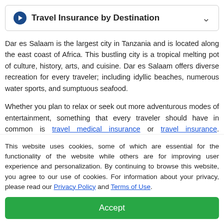Travel Insurance by Destination
Dar es Salaam is the largest city in Tanzania and is located along the east coast of Africa. This bustling city is a tropical melting pot of culture, history, arts, and cuisine. Dar es Salaam offers diverse recreation for every traveler; including idyllic beaches, numerous water sports, and sumptuous seafood.
Whether you plan to relax or seek out more adventurous modes of entertainment, something that every traveler should have in common is travel medical insurance or travel insurance. Unforeseen situations can arise no matter how you spend your time, so it pays to protect yourself.
Things to Do for Travelers in Dar es Salaam
National Museum and House of Culture
This website uses cookies, some of which are essential for the functionality of the website while others are for improving user experience and personalization. By continuing to browse this website, you agree to our use of cookies. For information about your privacy, please read our Privacy Policy and Terms of Use.
Accept